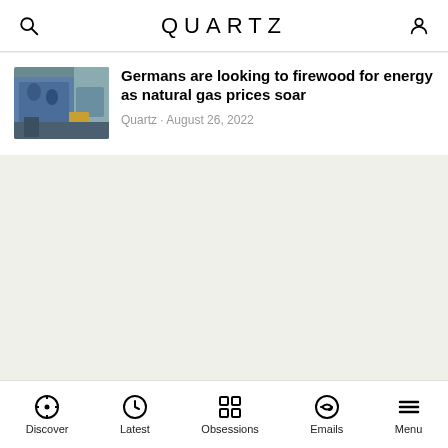QUARTZ
[Figure (photo): Thumbnail image of people with blue coverings, likely firewood or energy related scene]
Germans are looking to firewood for energy as natural gas prices soar
Quartz · August 26, 2022
Discover  Latest  Obsessions  Emails  Menu